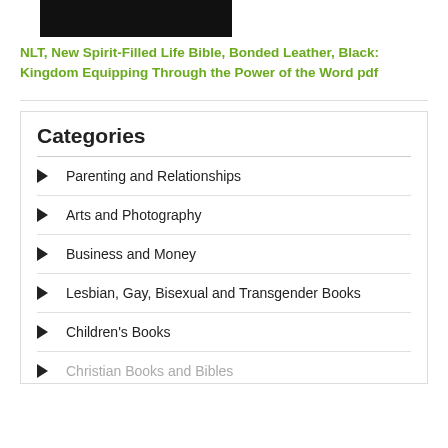[Figure (photo): Dark black textured surface, partial view of a book cover]
NLT, New Spirit-Filled Life Bible, Bonded Leather, Black: Kingdom Equipping Through the Power of the Word pdf
Categories
Parenting and Relationships
Arts and Photography
Business and Money
Lesbian, Gay, Bisexual and Transgender Books
Children's Books
Christian Books and Bibles